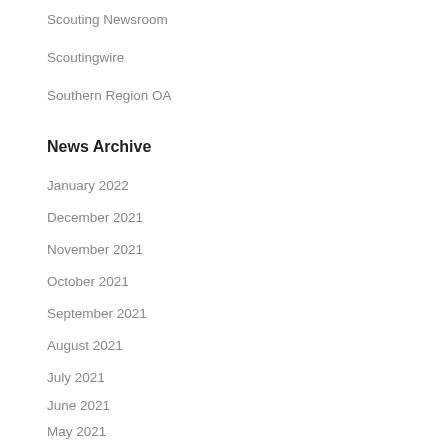Scouting Newsroom
Scoutingwire
Southern Region OA
News Archive
January 2022
December 2021
November 2021
October 2021
September 2021
August 2021
July 2021
June 2021
May 2021
April 2021